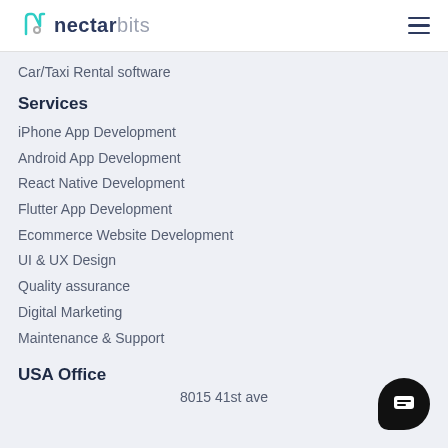nectarbits
Car/Taxi Rental software
Services
iPhone App Development
Android App Development
React Native Development
Flutter App Development
Ecommerce Website Development
UI & UX Design
Quality assurance
Digital Marketing
Maintenance & Support
USA Office
8015 41st ave